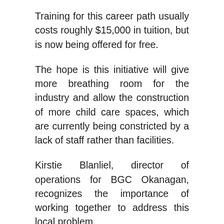Training for this career path usually costs roughly $15,000 in tuition, but is now being offered for free.
The hope is this initiative will give more breathing room for the industry and allow the construction of more child care spaces, which are currently being constricted by a lack of staff rather than facilities.
Kirstie Blanliel, director of operations for BGC Okanagan, recognizes the importance of working together to address this local problem.
“Child care is a vital service, and